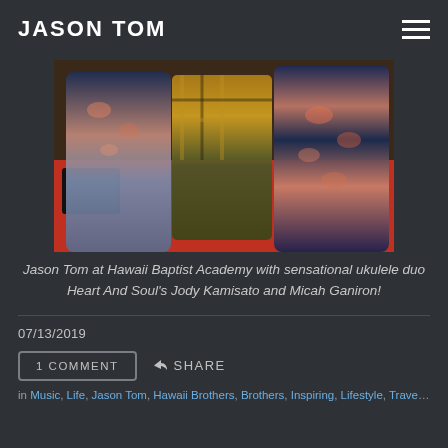JASON TOM
[Figure (photo): Three people standing together at Hawaii Baptist Academy. Left and right figures wearing Hawaiian/floral shirts, middle figure in yellow plaid shirt. Red floor visible.]
Jason Tom at Hawaii Baptist Academy with sensational ukulele duo Heart And Soul's Jody Kamisato and Micah Ganiron!
07/13/2019
1 COMMENT
SHARE
in Music, Life, Jason Tom, Hawaii Brothers, Brothers, Inspiring, Lifestyle, Travel, Dance...